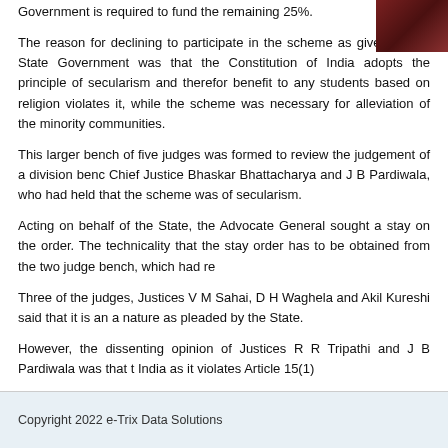Government is required to fund the remaining 25%.
[Figure (photo): Dark reddish-brown book spines stacked]
The reason for declining to participate in the scheme as given by the State Government was that the Constitution of India adopts the principle of secularism and therefor benefit to any students based on religion violates it, while the scheme was necessary for alleviation of the minority communities.
This larger bench of five judges was formed to review the judgement of a division bench Chief Justice Bhaskar Bhattacharya and J B Pardiwala, who had held that the scheme was of secularism.
Acting on behalf of the State, the Advocate General sought a stay on the order. The technicality that the stay order has to be obtained from the two judge bench, which had re
Three of the judges, Justices V M Sahai, D H Waghela and Akil Kureshi said that it is an a nature as pleaded by the State.
However, the dissenting opinion of Justices R R Tripathi and J B Pardiwala was that th India as it violates Article 15(1)
The Article 15(1) says State shall not discriminate against any citizen on grounds only o any of them.
Filed in: Latest Education News    Tags: pre-matric scholarship, scholarship
Copyright 2022 e-Trix Data Solutions